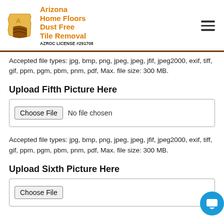Arizona Home Floors Dust Free Tile Removal AZROC LICENSE #291708
Accepted file types: jpg, bmp, png, jpeg, jpeg, jfif, jpeg2000, exif, tiff, gif, ppm, pgm, pbm, pnm, pdf, Max. file size: 300 MB.
Upload Fifth Picture Here
[Figure (screenshot): File input widget with 'Choose File' button and 'No file chosen' text]
Accepted file types: jpg, bmp, png, jpeg, jpeg, jfif, jpeg2000, exif, tiff, gif, ppm, pgm, pbm, pnm, pdf, Max. file size: 300 MB.
Upload Sixth Picture Here
[Figure (screenshot): File input widget partially visible at bottom]